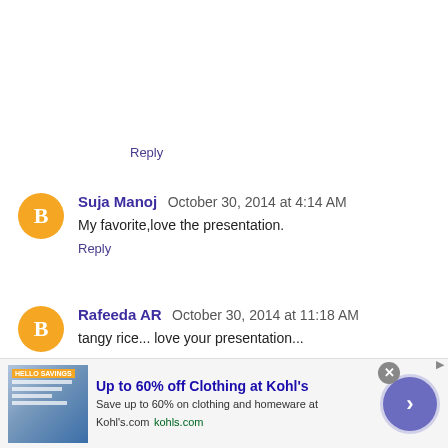Reply
Suja Manoj  October 30, 2014 at 4:14 AM
My favorite,love the presentation.
Reply
Rafeeda AR  October 30, 2014 at 11:18 AM
tangy rice... love your presentation...
[Figure (screenshot): Advertisement banner: Up to 60% off Clothing at Kohl's. Save up to 60% on clothing and homeware at Kohl's.com. kohls.com]